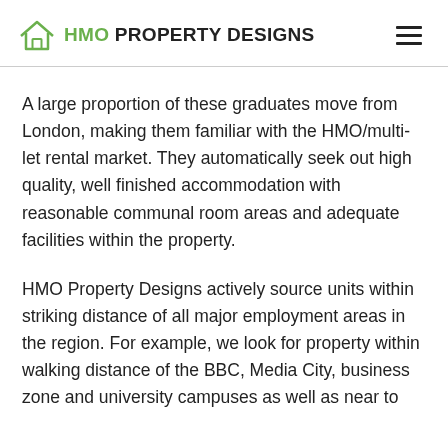HMO PROPERTY DESIGNS
A large proportion of these graduates move from London, making them familiar with the HMO/multi-let rental market. They automatically seek out high quality, well finished accommodation with reasonable communal room areas and adequate facilities within the property.
HMO Property Designs actively source units within striking distance of all major employment areas in the region. For example, we look for property within walking distance of the BBC, Media City, business zone and university campuses as well as near to